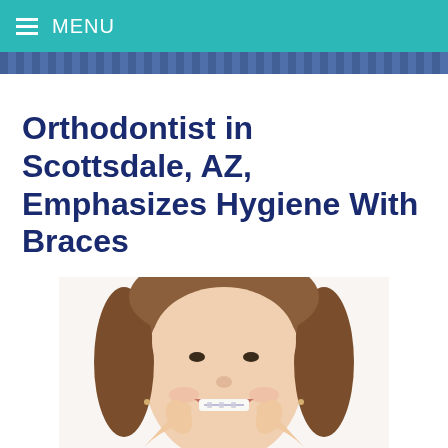MENU
Orthodontist in Scottsdale, AZ, Emphasizes Hygiene With Braces
[Figure (photo): A smiling woman with braces pointing to her smile with both index fingers, wearing a purple top, photographed from the shoulders up against a white background.]